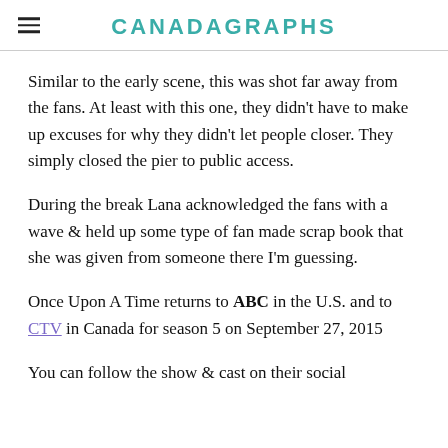CANADAGRAPHS
Similar to the early scene, this was shot far away from the fans. At least with this one, they didn't have to make up excuses for why they didn't let people closer. They simply closed the pier to public access.
During the break Lana acknowledged the fans with a wave & held up some type of fan made scrap book that she was given from someone there I'm guessing.
Once Upon A Time returns to ABC in the U.S. and to CTV in Canada for season 5 on September 27, 2015
You can follow the show & cast on their social